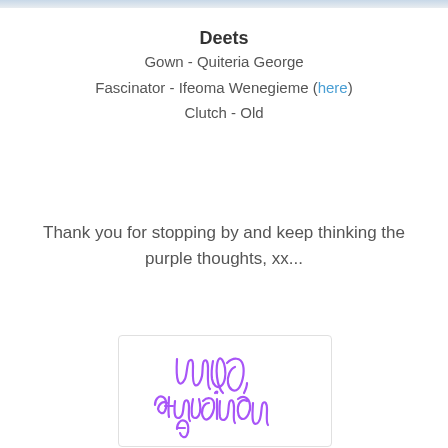Deets
Gown - Quiteria George
Fascinator - Ifeoma Wenegieme (here)
Clutch - Old
Thank you for stopping by and keep thinking the purple thoughts, xx...
[Figure (illustration): Handwritten signature in purple cursive text reading 'Ndu, Fashion Fairy' inside a light bordered box]